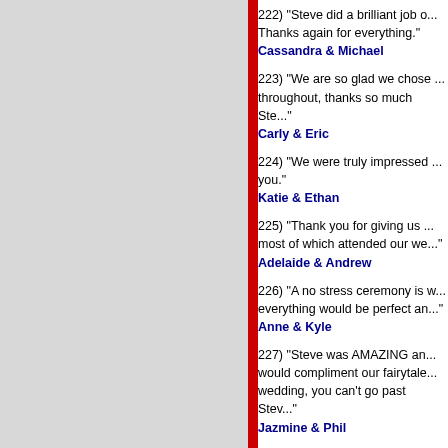222) "Steve did a brilliant job o... Thanks again for everything."
Cassandra & Michael
223) "We are so glad we chose ... throughout, thanks so much Ste..."
Carly & Eric
224) "We were truly impressed ... you."
Katie & Ethan
225) "Thank you for giving us ... most of which attended our we..."
Adelaide & Andrew
226) "A no stress ceremony is w... everything would be perfect an..."
Anne & Kyle
227) "Steve was AMAZING an... would compliment our fairytale... wedding, you can't go past Stev..."
Jazmine & Phil
228) "Thank you for making ou... your professional service. Stev..."
Jessica & Alasdair